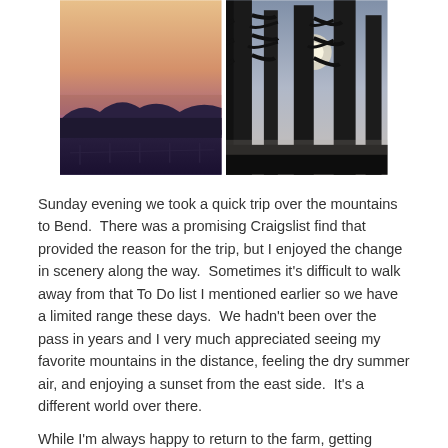[Figure (photo): Two landscape photos side by side. Left: a sunset over mountains with a gradient sky from orange to purple/blue and silhouetted treeline. Right: tall conifer trees silhouetted against a pale twilight sky with a bright spot (sun or moon) visible through the trees.]
Sunday evening we took a quick trip over the mountains to Bend.  There was a promising Craigslist find that provided the reason for the trip, but I enjoyed the change in scenery along the way.  Sometimes it's difficult to walk away from that To Do list I mentioned earlier so we have a limited range these days.  We hadn't been over the pass in years and I very much appreciated seeing my favorite mountains in the distance, feeling the dry summer air, and enjoying a sunset from the east side.  It's a different world over there.
While I'm always happy to return to the farm, getting